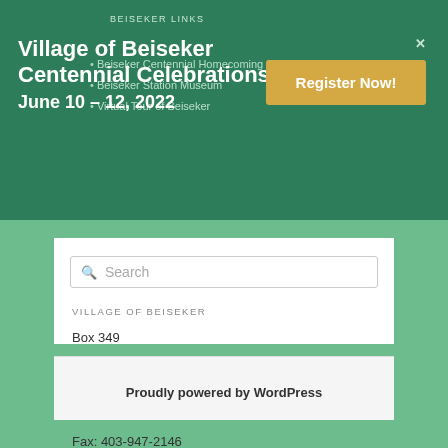BEISEKER LINKS
Village of Beiseker Centennial Celebrations
June 10 – 12, 2022
Beiseker Centennial Homecoming 2022
Beiseker Station Museum
Virtual Tour of Beiseker
Register Now!
Search
VILLAGE OF BEISEKER
Box 349
700, 1st Ave
Beiseker, AB T0M 0G0
Phone: 403-947-3774
Fax: 403-947-2146
Proudly powered by WordPress